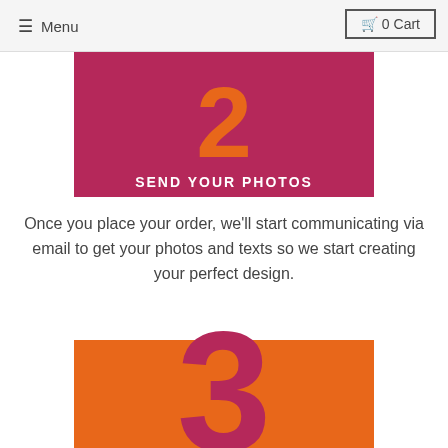≡ Menu   🛒 0 Cart
[Figure (illustration): Step 2 banner: magenta/crimson background with large orange numeral 2 and white text 'SEND YOUR PHOTOS']
Once you place your order, we'll start communicating via email to get your photos and texts so we start creating your perfect design.
[Figure (illustration): Step 3 banner: orange background with large crimson numeral 3 extending above the banner]